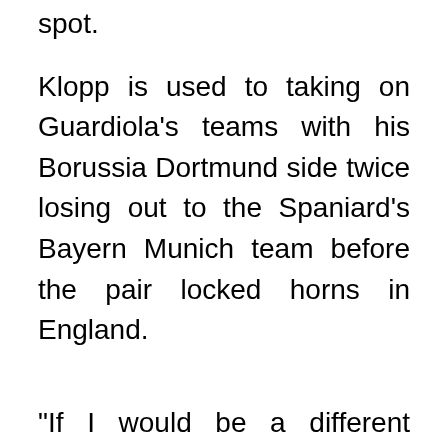spot.
Klopp is used to taking on Guardiola's teams with his Borussia Dortmund side twice losing out to the Spaniard's Bayern Munich team before the pair locked horns in England.
"If I would be a different person I would be, probably, a little bit depressed about the fact that Pep Guardiola is constantly coaching these kind of teams," Klopp said on Thursday in an interview with Premier League Productions.